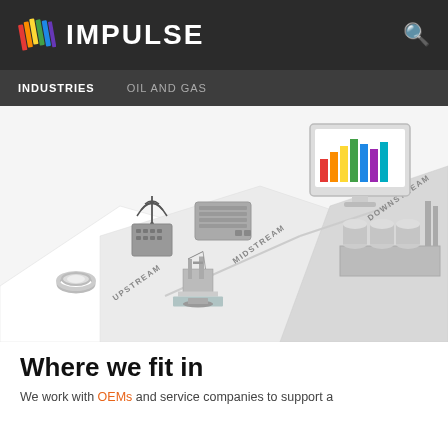IMPULSE
INDUSTRIES  OIL AND GAS
[Figure (infographic): Isometric infographic showing oil and gas pipeline sectors: Upstream (offshore drilling rig and vessel), Midstream (networking hardware, router, edge computing device), and Downstream (industrial refinery complex), with a monitor displaying colorful bar chart, connected by pipeline routes on a white terrain map]
Where we fit in
We work with OEMs and service companies to support a